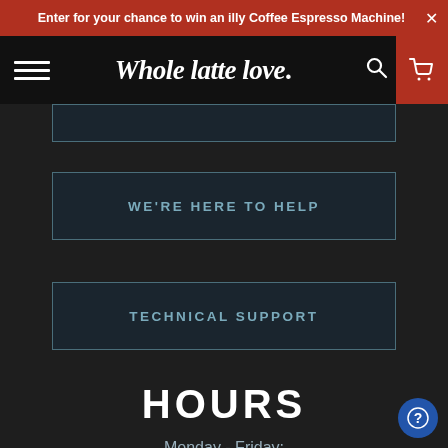Enter for your chance to win an illy Coffee Espresso Machine! ×
Whole latte love.
WE'RE HERE TO HELP
TECHNICAL SUPPORT
HOURS
Monday - Friday:
10AM - 7PM EST